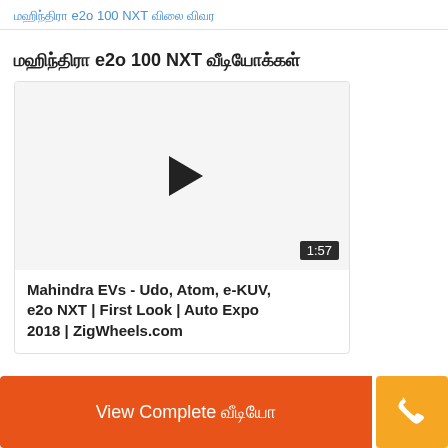மஹிந்திரா e2o 100 NXT விலை விவர
மஹிந்திரா e2o 100 NXT வீடியோக்கள்
[Figure (screenshot): Video thumbnail with play button and duration 1:57 for Mahindra EVs - Udo, Atom, e-KUV, e2o NXT | First Look | Auto Expo 2018 | ZigWheels.com]
Mahindra EVs - Udo, Atom, e-KUV, e2o NXT | First Look | Auto Expo 2018 | ZigWheels.com
View Complete வீடியோ